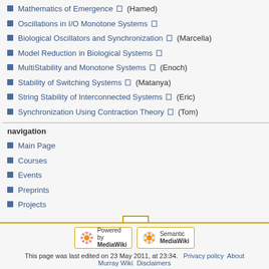Mathematics of Emergence (Hamed)
Oscillations in I/O Monotone Systems
Biological Oscillators and Synchronization (Marcella)
Model Reduction in Biological Systems
MultiStability and Monotone Systems (Enoch)
Stability of Switching Systems (Matanya)
String Stability of Interconnected Systems (Eric)
Synchronization Using Contraction Theory (Tom)
navigation
Main Page
Courses
Events
Preprints
Projects
[Figure (other): Scroll to top button with upward triangle arrow, gold border]
[Figure (logo): Powered by MediaWiki badge and Semantic MediaWiki badge]
This page was last edited on 23 May 2011, at 23:34.   Privacy policy   About   Murray Wiki   Disclaimers